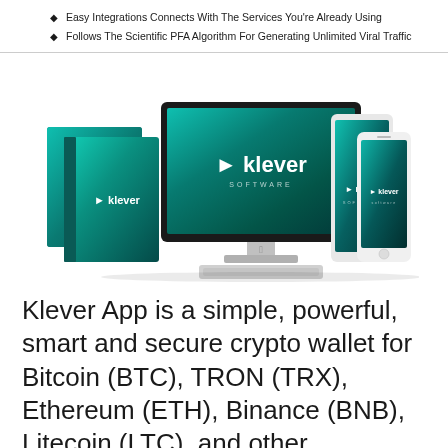Easy Integrations Connects With The Services You're Already Using
Follows The Scientific PFA Algorithm For Generating Unlimited Viral Traffic
[Figure (illustration): Product mockup showing Klever Software on iMac desktop monitor, two software boxes, a tablet, and a smartphone — all displaying the Klever branding with teal/green aurora background.]
Klever App is a simple, powerful, smart and secure crypto wallet for Bitcoin (BTC), TRON (TRX), Ethereum (ETH), Binance (BNB), Litecoin (LTC), and other...